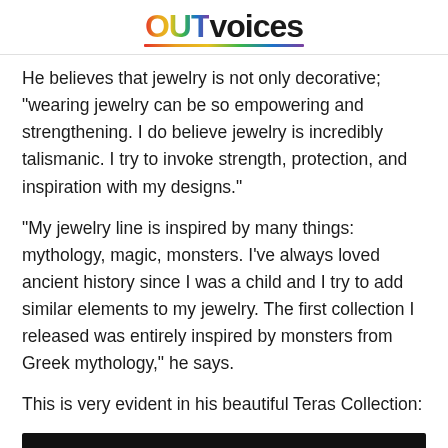OUTvoices
He believes that jewelry is not only decorative; "wearing jewelry can be so empowering and strengthening. I do believe jewelry is incredibly talismanic. I try to invoke strength, protection, and inspiration with my designs."
"My jewelry line is inspired by many things: mythology, magic, monsters. I've always loved ancient history since I was a child and I try to add similar elements to my jewelry. The first collection I released was entirely inspired by monsters from Greek mythology," he says.
This is very evident in his beautiful Teras Collection:
[Figure (photo): Black image block at bottom of page]